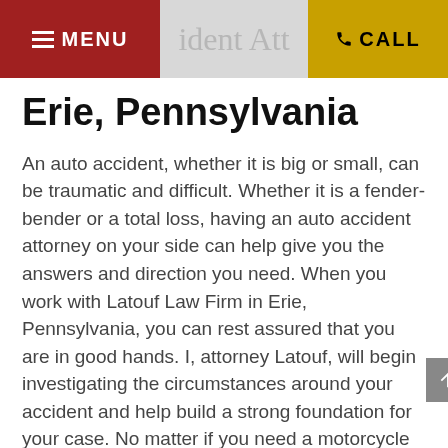≡ MENU   [Accident Attorney]   ☎ CALL
Erie, Pennsylvania
An auto accident, whether it is big or small, can be traumatic and difficult. Whether it is a fender-bender or a total loss, having an auto accident attorney on your side can help give you the answers and direction you need. When you work with Latouf Law Firm in Erie, Pennsylvania, you can rest assured that you are in good hands. I, attorney Latouf, will begin investigating the circumstances around your accident and help build a strong foundation for your case. No matter if you need a motorcycle accident attorney or someone to consult with about your auto injury, I am here to help.
I can help you get what you deserve after an auto